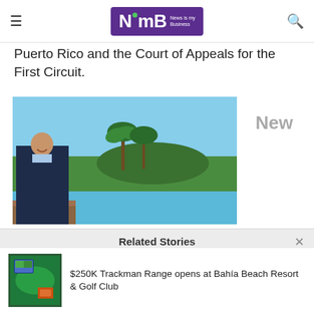NimB – News Is my Business
Puerto Rico and the Court of Appeals for the First Circuit.
[Figure (photo): Man in dark blazer and light blue shirt standing on a wooden bridge with tropical landscape, palm trees, and water in background. Label 'New' appears to the right.]
Related Stories
[Figure (photo): Thumbnail image of a golf simulator screen showing a golf course]
$250K Trackman Range opens at Bahía Beach Resort & Golf Club